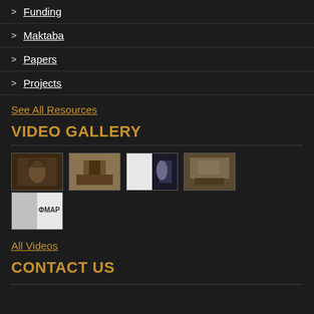Funding
Maktaba
Papers
Projects
See All Resources
VIDEO GALLERY
[Figure (photo): Video gallery thumbnails: 5 video thumbnail images arranged in a grid, two rows. First row has 4 thumbnails, second row has 1 thumbnail.]
All Videos
CONTACT US